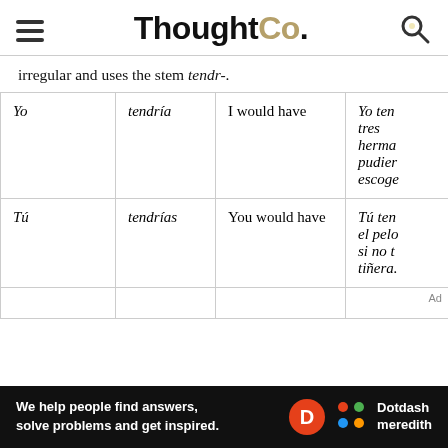ThoughtCo.
irregular and uses the stem tendr-.
|  | Conjugation | Translation | Example |
| --- | --- | --- | --- |
| Yo | tendría | I would have | Yo ten­dría tres herma­nos si pudier­a escoger... |
| Tú | tendrías | You would have | Tú ten­drías el pelo rojo si no te tiñeras. |
We help people find answers, solve problems and get inspired. Dotdash meredith